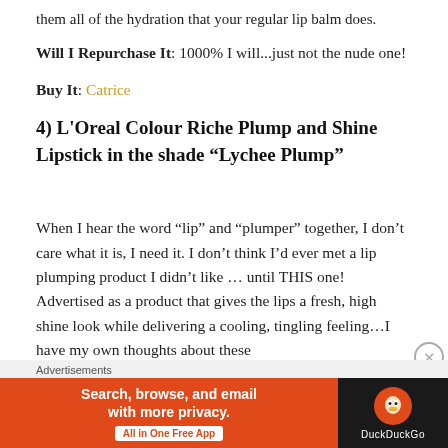them all of the hydration that your regular lip balm does.
Will I Repurchase It: 1000% I will...just not the nude one!
Buy It: Catrice
4) L'Oreal Colour Riche Plump and Shine Lipstick in the shade “Lychee Plump”
When I hear the word “lip” and “plumper” together, I don’t care what it is, I need it. I don’t think I’d ever met a lip plumping product I didn’t like … until THIS one! Advertised as a product that gives the lips a fresh, high shine look while delivering a cooling, tingling feeling…I have my own thoughts about these
[Figure (screenshot): DuckDuckGo advertisement banner with orange background, text 'Search, browse, and email with more privacy. All in One Free App', and DuckDuckGo logo on dark background.]